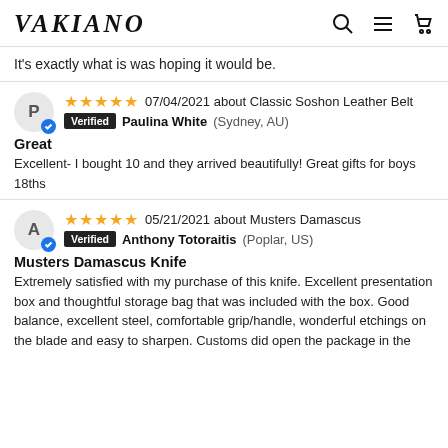VAKIANO
It's exactly what is was hoping it would be.
★★★★★ 07/04/2021 about Classic Soshon Leather Belt — Verified Paulina White (Sydney, AU)
Great
Excellent- I bought 10 and they arrived beautifully! Great gifts for boys 18ths
★★★★★ 05/21/2021 about Musters Damascus — Verified Anthony Totoraitis (Poplar, US)
Musters Damascus Knife
Extremely satisfied with my purchase of this knife. Excellent presentation box and thoughtful storage bag that was included with the box. Good balance, excellent steel, comfortable grip/handle, wonderful etchings on the blade and easy to sharpen. Customs did open the package in the